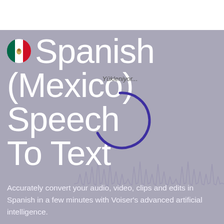[Figure (screenshot): Screenshot of a web page for 'Spanish (Mexico) Speech To Text' service by Voiser. Dark grey/purple background with audio waveform graphic, Mexican flag circle icon, large white title text, and a loading spinner overlay. Subtitle text describes the service.]
Spanish (Mexico) Speech To Text
Accurately convert your audio, video, clips and edits in Spanish in a few minutes with Voiser's advanced artificial intelligence.